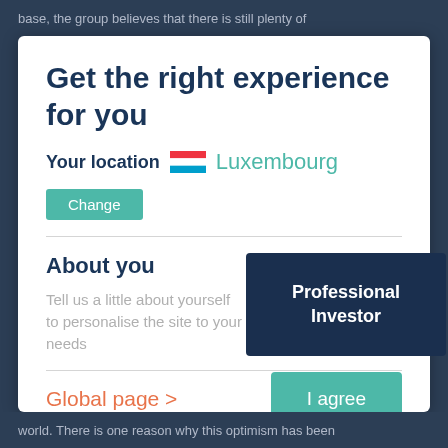base, the group believes that there is still plenty of
Get the right experience for you
Your location  Luxembourg
Change
About you
Tell us a little about yourself to personalise the site to your needs
Professional Investor
Global page >
I agree
world. There is one reason why this optimism has been